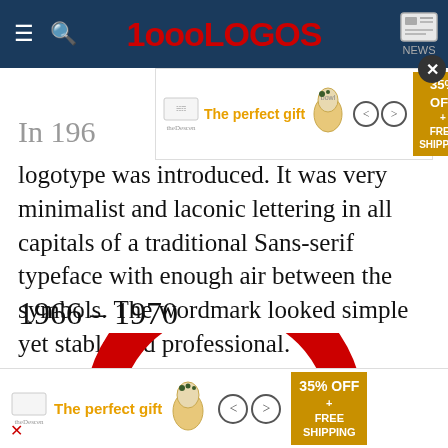1000LOGOS | NEWS
[Figure (screenshot): Advertisement banner: 'The perfect gift' with food product image and 35% OFF + FREE SHIPPING offer box]
In 196[...] logotype was introduced. It was very minimalist and laconic lettering in all capitals of a traditional Sans-serif typeface with enough air between the symbols. The wordmark looked simple yet stable and professional.
1966 – 1970
[Figure (logo): Red Magnum-style logo: semicircular arch with two arched cutouts, partial view]
[Figure (screenshot): Bottom advertisement banner: 'The perfect gift' with food product image and 35% OFF + FREE SHIPPING offer box]